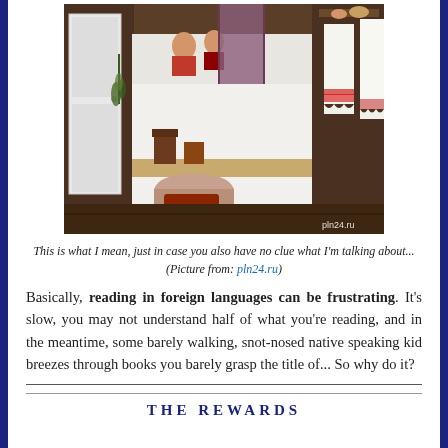[Figure (photo): Interior of a traditional Russian room with a white masonry stove (pech), wooden shelves with pottery, embroidered linen towels, plaid curtain, wooden walls, and two children visible above the stove. Watermark: pln24.ru]
This is what I mean, just in case you also have no clue what I'm talking about...
(Picture from: pln24.ru)
Basically, reading in foreign languages can be frustrating. It's slow, you may not understand half of what you're reading, and in the meantime, some barely walking, snot-nosed native speaking kid breezes through books you barely grasp the title of... So why do it?
THE REWARDS